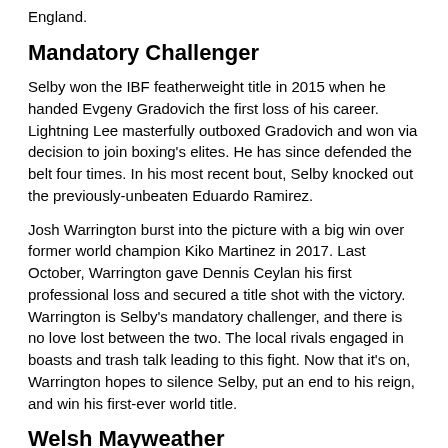England.
Mandatory Challenger
Selby won the IBF featherweight title in 2015 when he handed Evgeny Gradovich the first loss of his career. Lightning Lee masterfully outboxed Gradovich and won via decision to join boxing's elites. He has since defended the belt four times. In his most recent bout, Selby knocked out the previously-unbeaten Eduardo Ramirez.
Josh Warrington burst into the picture with a big win over former world champion Kiko Martinez in 2017. Last October, Warrington gave Dennis Ceylan his first professional loss and secured a title shot with the victory. Warrington is Selby's mandatory challenger, and there is no love lost between the two. The local rivals engaged in boasts and trash talk leading to this fight. Now that it's on, Warrington hopes to silence Selby, put an end to his reign, and win his first-ever world title.
Welsh Mayweather
Selby is favored here at -400, while Warrington is the underdog at +270. Selby has established himself as one of the best featherweights in the world during his title reign. Known as the